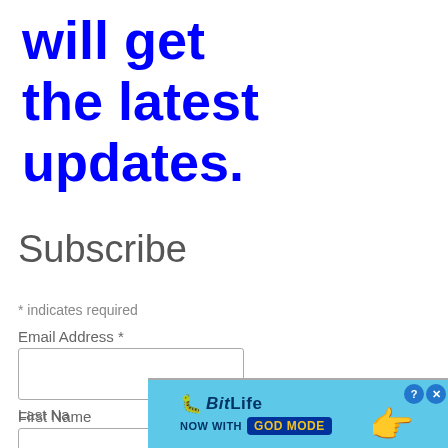will get the latest updates.
Subscribe
* indicates required
Email Address *
First Name
Last Na
[Figure (screenshot): BitLife advertisement banner with blue background, showing BitLife logo with worm icon, 'NOW WITH GOD MODE' text on blue button, pointing hand graphic, and close/help buttons in top right corner.]